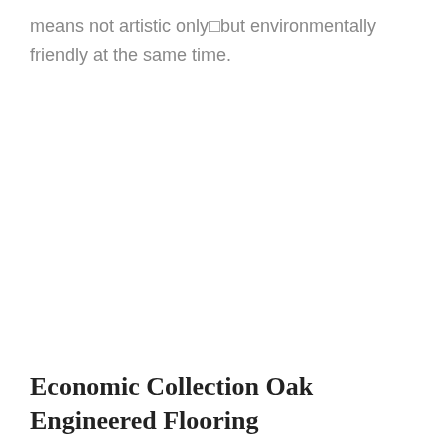means not artistic only—but environmentally friendly at the same time.
Economic Collection Oak Engineered Flooring